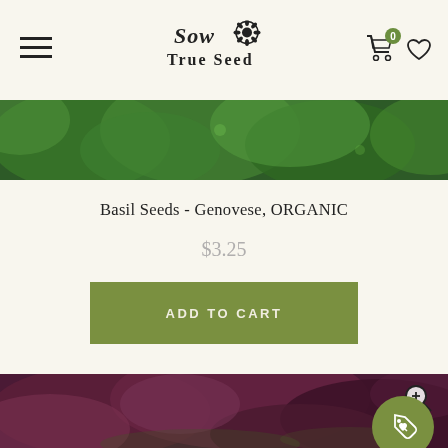Sow True Seed
[Figure (photo): Close-up of green basil leaves at top of page]
Basil Seeds - Genovese, ORGANIC
$3.25
ADD TO CART
[Figure (photo): Close-up of dark purple/maroon basil leaves]